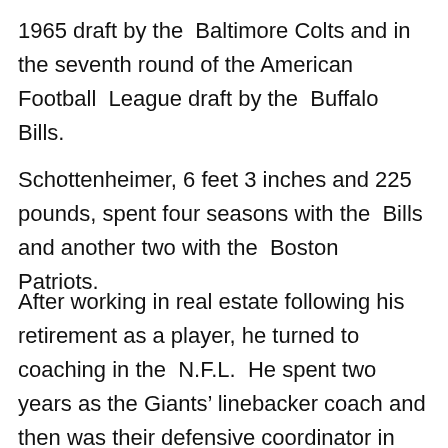1965 draft by the Baltimore Colts and in the seventh round of the American Football League draft by the Buffalo Bills.
Schottenheimer, 6 feet 3 inches and 225 pounds, spent four seasons with the Bills and another two with the Boston Patriots.
After working in real estate following his retirement as a player, he turned to coaching in the N.F.L. He spent two years as the Giants' linebacker coach and then was their defensive coordinator in 1977. He coached the Detroit Lions' linebackers for two seasons after that